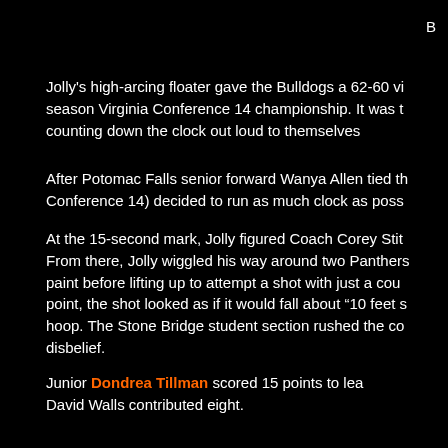B
Jolly's high-arcing floater gave the Bulldogs a 62-60 vi season Virginia Conference 14 championship. It was t counting down the clock out loud to themselves
After Potomac Falls senior forward Wanya Allen tied th Conference 14) decided to run as much clock as poss
At the 15-second mark, Jolly figured Coach Corey Stit From there, Jolly wiggled his way around two Panthers paint before lifting up to attempt a shot with just a cou point, the shot looked as if it would fall about “10 feet s hoop. The Stone Bridge student section rushed the co disbelief.
Junior Dondrea Tillman scored 15 points to lea David Walls contributed eight.